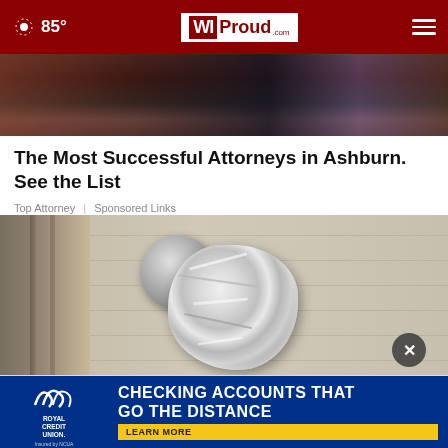85° | WI Proud
[Figure (photo): Top portion of a news article photo, partially cropped, showing a dark indoor scene]
The Most Successful Attorneys in Ashburn. See the List
Top Attorney | Sponsored Links
[Figure (photo): Close-up photo of a door knob wrapped in aluminum foil on a beige/tan door]
[Figure (screenshot): Royal Credit Union advertisement banner: CHECKING ACCOUNTS THAT GO THE DISTANCE - LEARN MORE]